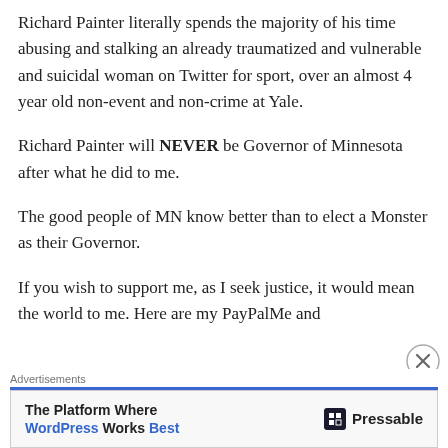Richard Painter literally spends the majority of his time abusing and stalking an already traumatized and vulnerable and suicidal woman on Twitter for sport, over an almost 4 year old non-event and non-crime at Yale.
Richard Painter will NEVER be Governor of Minnesota after what he did to me.
The good people of MN know better than to elect a Monster as their Governor.
If you wish to support me, as I seek justice, it would mean the world to me. Here are my PayPalMe and
[Figure (other): Advertisement banner: 'The Platform Where WordPress Works Best' with Pressable logo on the right, close button (X) in circle at top right of ad area.]